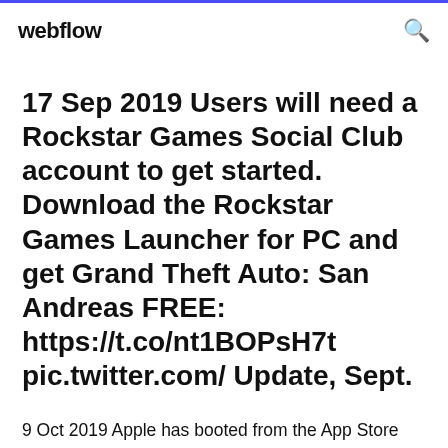webflow
17 Sep 2019 Users will need a Rockstar Games Social Club account to get started. Download the Rockstar Games Launcher for PC and get Grand Theft Auto: San Andreas FREE: https://t.co/nt1BOPsH7t pic.twitter.com/ Update, Sept.
9 Oct 2019 Apple has booted from the App Store cannabis-promoting app Social Club during its life saw 455,000 downloads across